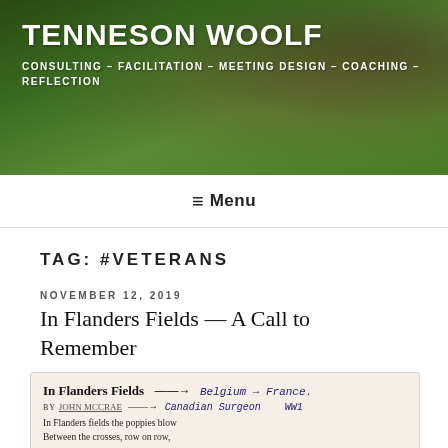TENNESON WOOLF
CONSULTING – FACILITATION – MEETING DESIGN – COACHING – REFLECTION
≡ Menu
TAG: #VETERANS
NOVEMBER 12, 2019
In Flanders Fields — A Call to Remember
[Figure (photo): Scanned page showing the poem 'In Flanders Fields' by John McCrae with handwritten annotations: 'Belgium → France.' and 'Canadian Surgeon WW1'. First four lines of the poem are visible: 'In Flanders fields the poppies blow / Between the crosses, row on row, / That mark our place; and in the sky / The larks, still bravely singing, fly']